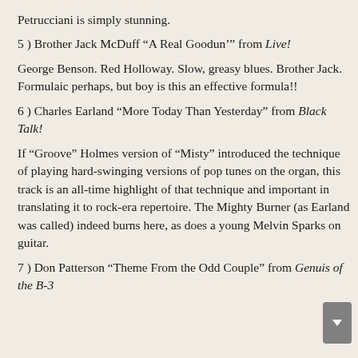Petrucciani is simply stunning.
5 ) Brother Jack McDuff “A Real Goodun’” from Live!
George Benson. Red Holloway. Slow, greasy blues. Brother Jack. Formulaic perhaps, but boy is this an effective formula!!
6 ) Charles Earland “More Today Than Yesterday” from Black Talk!
If “Groove” Holmes version of “Misty” introduced the technique of playing hard-swinging versions of pop tunes on the organ, this track is an all-time highlight of that technique and important in translating it to rock-era repertoire. The Mighty Burner (as Earland was called) indeed burns here, as does a young Melvin Sparks on guitar.
7 ) Don Patterson “Theme From the Odd Couple” from Genuis of the B-3